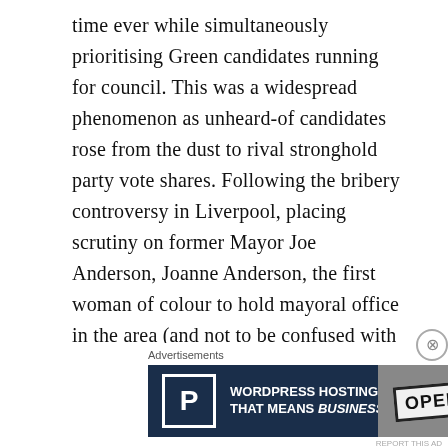time ever while simultaneously prioritising Green candidates running for council. This was a widespread phenomenon as unheard-of candidates rose from the dust to rival stronghold party vote shares. Following the bribery controversy in Liverpool, placing scrutiny on former Mayor Joe Anderson, Joanne Anderson, the first woman of colour to hold mayoral office in the area (and not to be confused with the former Mayor), took over as the Labour candidate for this city.
Though resolutely left-wing in terms of voting
[Figure (other): Advertisement banner: Pressidium WordPress Hosting advertisement with 'WORDPRESS HOSTING THAT MEANS BUSINESS.' text and a photo of an OPEN sign]